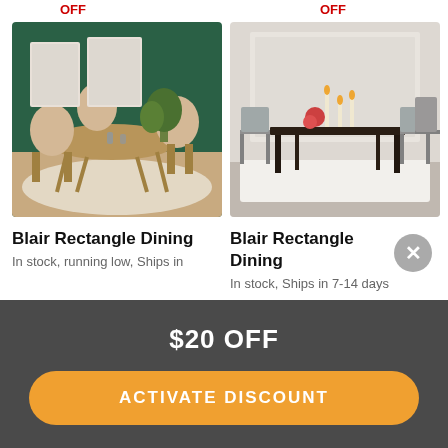[Figure (photo): Dining room scene with green wall, wooden table and beige chairs on light rug]
[Figure (photo): Dining room scene with neutral gray walls, dark table and gray chairs on white rug with candles]
Blair Rectangle Dining
In stock, running low, Ships in
Blair Rectangle Dining
In stock, Ships in 7-14 days
$20 OFF
ACTIVATE DISCOUNT